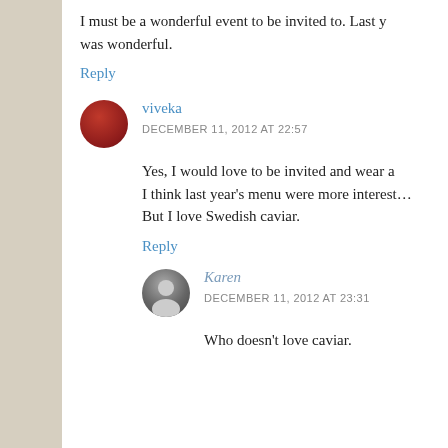I must be a wonderful event to be invited to. Last y… was wonderful.
Reply
[Figure (photo): Round avatar of user viveka, dark red/maroon circular profile photo]
viveka
DECEMBER 11, 2012 AT 22:57
Yes, I would love to be invited and wear a… I think last year's menu were more interest… But I love Swedish caviar.
Reply
[Figure (photo): Round avatar of user Karen, gray/dark circular profile photo with person silhouette]
Karen
DECEMBER 11, 2012 AT 23:31
Who doesn't love caviar.